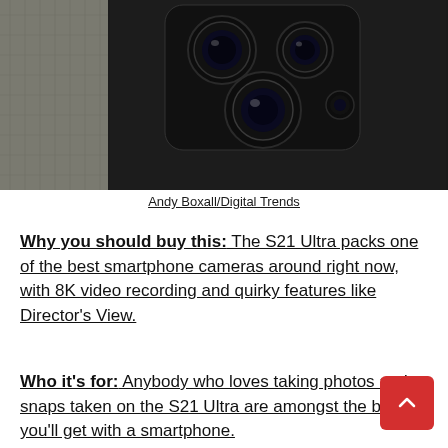[Figure (photo): Close-up photo of the back of a Samsung Galaxy S21 Ultra smartphone showing the camera module with multiple lenses, held in a hand. Background is a warm beige/peach color.]
Andy Boxall/Digital Trends
Why you should buy this: The S21 Ultra packs one of the best smartphone cameras around right now, with 8K video recording and quirky features like Director's View.
Who it's for: Anybody who loves taking photos and snaps taken on the S21 Ultra are amongst the best you'll get with a smartphone.